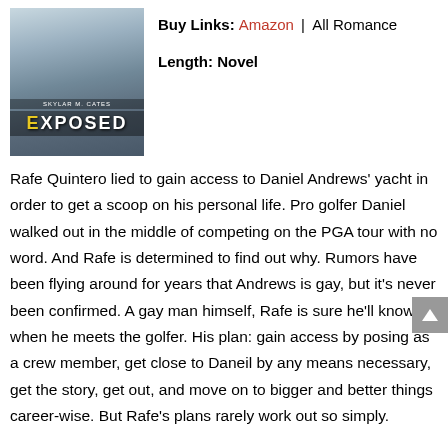[Figure (photo): Book cover for 'Exposed' by Skylar M. Cates showing a man in a blue striped shirt, with title text in large letters]
Buy Links: Amazon | All Romance
Length: Novel
Rafe Quintero lied to gain access to Daniel Andrews' yacht in order to get a scoop on his personal life. Pro golfer Daniel walked out in the middle of competing on the PGA tour with no word. And Rafe is determined to find out why. Rumors have been flying around for years that Andrews is gay, but it's never been confirmed. A gay man himself, Rafe is sure he'll know when he meets the golfer. His plan: gain access by posing as a crew member, get close to Daneil by any means necessary, get the story, get out, and move on to bigger and better things career-wise. But Rafe's plans rarely work out so simply.